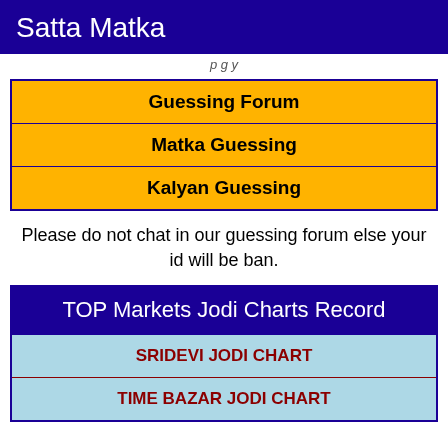Satta Matka
p g y
| Guessing Forum |
| Matka Guessing |
| Kalyan Guessing |
Please do not chat in our guessing forum else your id will be ban.
TOP Markets Jodi Charts Record
| SRIDEVI JODI CHART |
| TIME BAZAR JODI CHART |